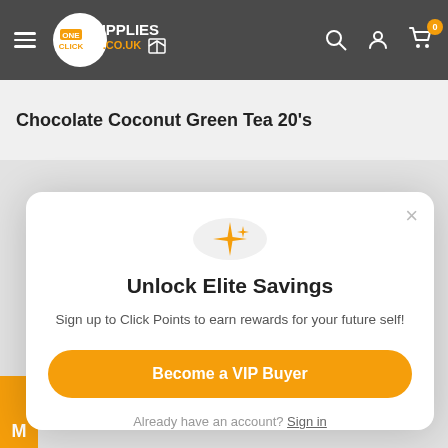[Figure (logo): OneClick Supplies .co.uk logo with hamburger menu, search, account, and cart icons in a dark grey header bar]
Chocolate Coconut Green Tea 20's
[Figure (infographic): Modal popup with sparkle/star icon in a grey circle at top, title 'Unlock Elite Savings', description text, orange 'Become a VIP Buyer' button, and 'Already have an account? Sign in' link. Close (×) button in top right corner.]
Unlock Elite Savings
Sign up to Click Points to earn rewards for your future self!
Become a VIP Buyer
Already have an account? Sign in